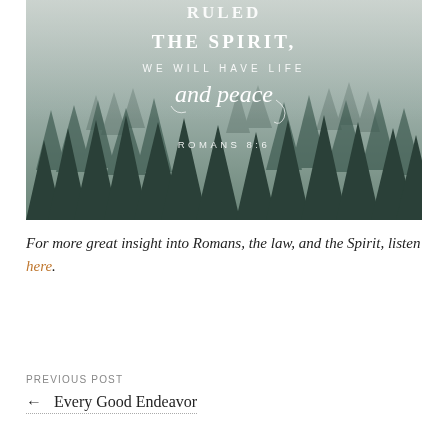[Figure (illustration): Misty forest scene with tall evergreen trees in fog. Overlaid white text reads: '...RULED THE SPIRIT, WE WILL HAVE LIFE and peace ROMANS 8:6']
For more great insight into Romans, the law, and the Spirit, listen here.
PREVIOUS POST
← Every Good Endeavor